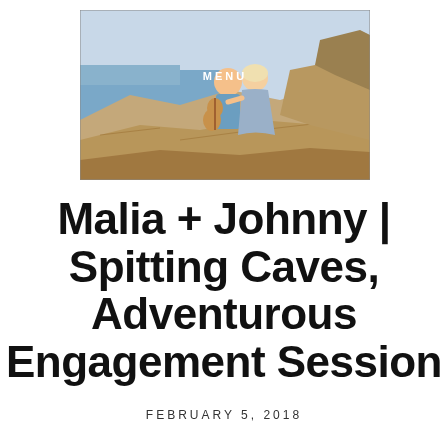[Figure (photo): A couple sitting on rocky coastal cliffs, the man playing a guitar, with ocean visible in the background. Text overlay reads MENU.]
Malia + Johnny | Spitting Caves, Adventurous Engagement Session
FEBRUARY 5, 2018